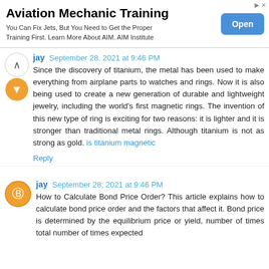[Figure (other): Advertisement banner for Aviation Mechanic Training with Open button]
jay September 28, 2021 at 9:46 PM
Since the discovery of titanium, the metal has been used to make everything from airplane parts to watches and rings. Now it is also being used to create a new generation of durable and lightweight jewelry, including the world's first magnetic rings. The invention of this new type of ring is exciting for two reasons: it is lighter and it is stronger than traditional metal rings. Although titanium is not as strong as gold. is titanium magnetic
Reply
jay September 28, 2021 at 9:46 PM
How to Calculate Bond Price Order? This article explains how to calculate bond price order and the factors that affect it. Bond price is determined by the equilibrium price or yield, number of times total number of times expected